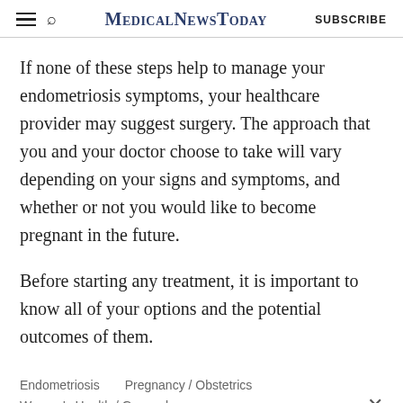MedicalNewsToday
If none of these steps help to manage your endometriosis symptoms, your healthcare provider may suggest surgery. The approach that you and your doctor choose to take will vary depending on your signs and symptoms, and whether or not you would like to become pregnant in the future.
Before starting any treatment, it is important to know all of your options and the potential outcomes of them.
Endometriosis    Pregnancy / Obstetrics
Women's Health / Gynecology
ADVERTISEMENT